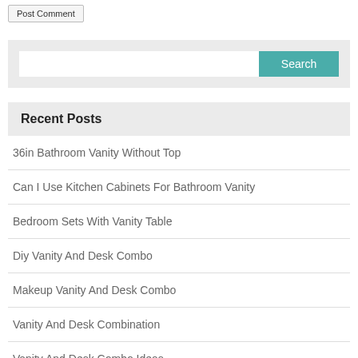Post Comment
[Figure (screenshot): Search bar with teal Search button on grey background]
Recent Posts
36in Bathroom Vanity Without Top
Can I Use Kitchen Cabinets For Bathroom Vanity
Bedroom Sets With Vanity Table
Diy Vanity And Desk Combo
Makeup Vanity And Desk Combo
Vanity And Desk Combination
Vanity And Desk Combo Ideas